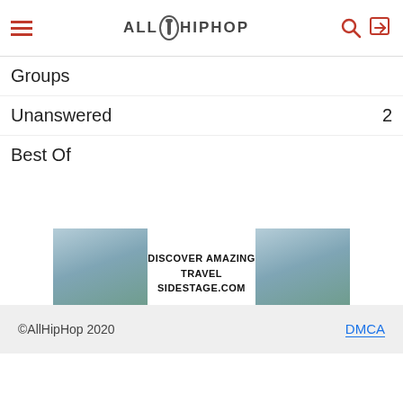AllHipHop
Groups
Unanswered  2
Best Of
[Figure (illustration): Advertisement banner for SideStage.com showing Yosemite travel images and text DISCOVER AMAZING TRAVEL SIDESTAGE.COM, with ezoic branding and report this ad link.]
©AllHipHop 2020  DMCA